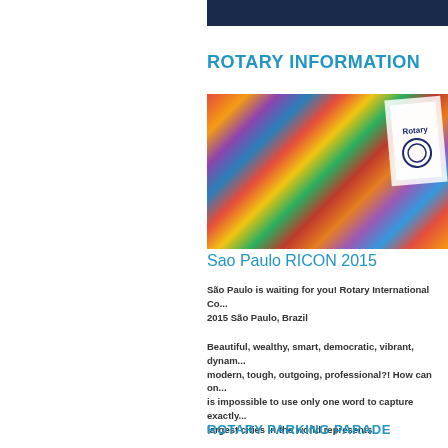[Figure (photo): Dark blue/navy banner image at top of page]
ROTARY INFORMATION
[Figure (photo): Colorful carnival parade photo from Sao Paulo with Rotary flag visible]
Sao Paulo RICON 2015
São Paulo is waiting for you! Rotary International Co... 2015 São Paulo, Brazil
Beautiful, wealthy, smart, democratic, vibrant, dynam... modern, tough, outgoing, professional?! How can on... is impossible to use only one word to capture exactly... largest cities in the world represents.
ROTARY PARKING PARADE